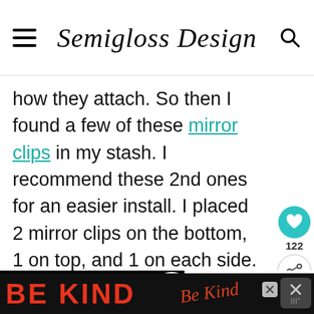Semigloss Design
how they attach. So then I found a few of these mirror clips in my stash. I recommend these 2nd ones for an easier install. I placed 2 mirror clips on the bottom, 1 on top, and 1 on each side.
[Figure (screenshot): Video overlay with green text: Attach the mirror with mirror clips. Add D-rings to the top for h... with a 'What's Next' panel showing thumbnail and text 'How to Make a DIY...']
[Figure (photo): Bottom portion of a photo showing DIY mirror project]
[Figure (infographic): Advertisement banner: BE KIND with decorative script logo and close buttons]